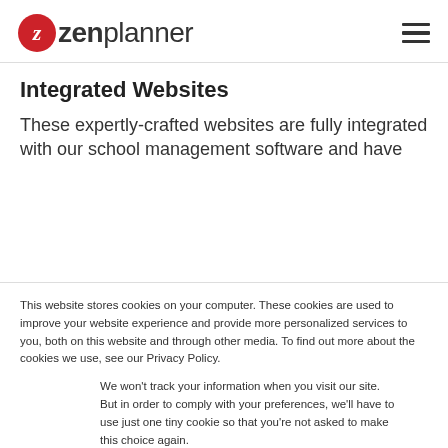[Figure (logo): Zen Planner logo with red circular icon containing white italic 'z' and 'zenplanner' text]
Integrated Websites
These expertly-crafted websites are fully integrated with our school management software and have
This website stores cookies on your computer. These cookies are used to improve your website experience and provide more personalized services to you, both on this website and through other media. To find out more about the cookies we use, see our Privacy Policy.
We won't track your information when you visit our site. But in order to comply with your preferences, we'll have to use just one tiny cookie so that you're not asked to make this choice again.